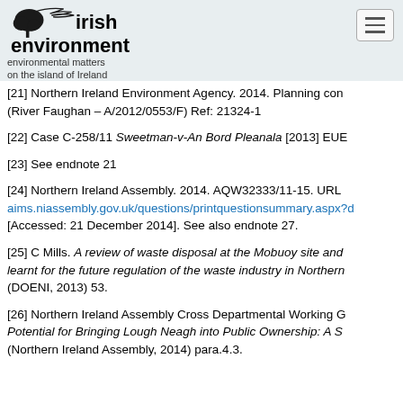irish environment — environmental matters on the island of Ireland
[21] Northern Ireland Environment Agency. 2014. Planning con (River Faughan – A/2012/0553/F) Ref: 21324-1
[22] Case C-258/11 Sweetman-v-An Bord Pleanala [2013] EUE
[23] See endnote 21
[24] Northern Ireland Assembly. 2014. AQW32333/11-15. URL aims.niassembly.gov.uk/questions/printquestionsummary.aspx?d [Accessed: 21 December 2014]. See also endnote 27.
[25] C Mills. A review of waste disposal at the Mobuoy site and learnt for the future regulation of the waste industry in Northern (DOENI, 2013) 53.
[26] Northern Ireland Assembly Cross Departmental Working G Potential for Bringing Lough Neagh into Public Ownership: A S (Northern Ireland Assembly, 2014) para.4.3.